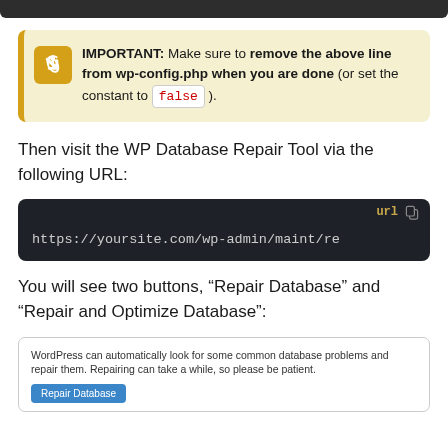IMPORTANT: Make sure to remove the above line from wp-config.php when you are done (or set the constant to false).
Then visit the WP Database Repair Tool via the following URL:
[Figure (screenshot): Dark code block showing URL: https://yoursite.com/wp-admin/maint/re with 'url' label and copy icon]
You will see two buttons, “Repair Database” and “Repair and Optimize Database”:
[Figure (screenshot): WordPress database repair tool interface showing text: WordPress can automatically look for some common database problems and repair them. Repairing can take a while, so please be patient. With a Repair Database button visible.]